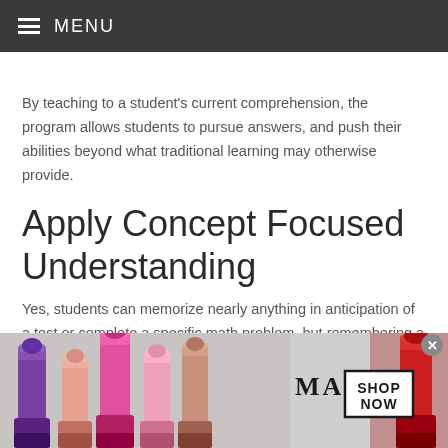MENU
By teaching to a student's current comprehension, the program allows students to pursue answers, and push their abilities beyond what traditional learning may otherwise provide.
Apply Concept Focused Understanding
Yes, students can memorize nearly anything in anticipation of a test or complete a specific math problem, but remembering a formula doesn't translate to the retention
[Figure (photo): Advertisement banner for MAC cosmetics showing lipsticks and a 'SHOP NOW' call-to-action button]